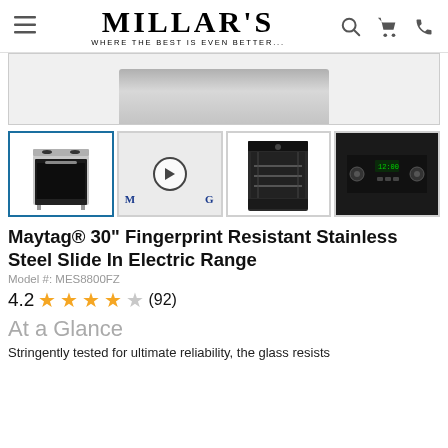MILLAR'S — WHERE THE BEST IS EVEN BETTER...
[Figure (photo): Partial view of a stainless steel appliance top/control panel area]
[Figure (photo): Thumbnail 1: Front view of Maytag stainless steel slide-in electric range (selected)]
[Figure (photo): Thumbnail 2: Video thumbnail with Maytag logo and play button]
[Figure (photo): Thumbnail 3: Maytag range with oven door open showing interior racks]
[Figure (photo): Thumbnail 4: Close-up of range control panel/knobs]
Maytag® 30" Fingerprint Resistant Stainless Steel Slide In Electric Range
Model #: MES8800FZ
4.2 ★★★★☆ (92)
At a Glance
Stringently tested for ultimate reliability, the glass resists